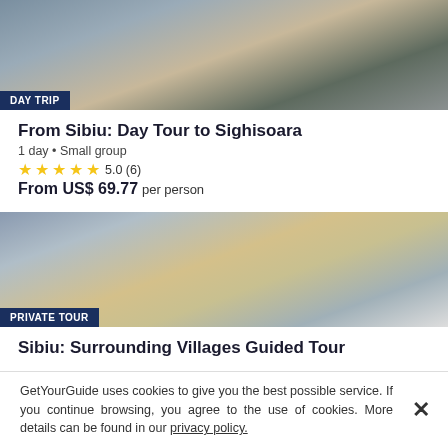[Figure (photo): Photo of Sighisoara medieval towers and buildings with trees and cloudy sky]
DAY TRIP
From Sibiu: Day Tour to Sighisoara
1 day • Small group
★★★★★ 5.0 (6)
From US$ 69.77 per person
[Figure (photo): Photo of Sibiu main square with baroque buildings and crowds of people]
PRIVATE TOUR
Sibiu: Surrounding Villages Guided Tour
GetYourGuide uses cookies to give you the best possible service. If you continue browsing, you agree to the use of cookies. More details can be found in our privacy policy.